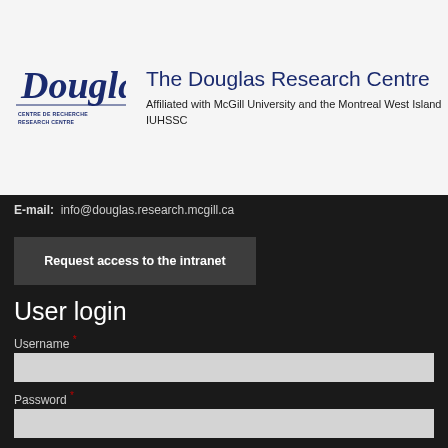[Figure (logo): Douglas Research Centre logo with cursive Douglas text and small CENTRE DE RECHERCHE / RESEARCH CENTRE text]
The Douglas Research Centre
Affiliated with McGill University and the Montreal West Island IUHSSC
E-mail:  info@douglas.research.mcgill.ca
Request access to the intranet
User login
Username *
Password *
Request new password